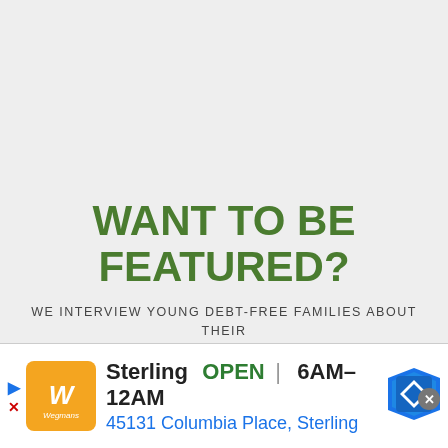WANT TO BE FEATURED?
WE INTERVIEW YOUNG DEBT-FREE FAMILIES ABOUT THEIR SUCCESS AND CHALLENGES. IF YOUR STORY WOULD FIT,
[Figure (infographic): Advertisement banner for Wegmans grocery store in Sterling showing store logo, open hours 6AM-12AM, address 45131 Columbia Place Sterling, and a blue navigation arrow icon]